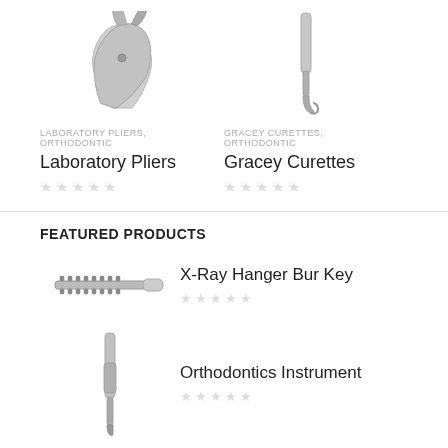[Figure (photo): Laboratory Pliers dental instrument, grayscale product photo]
LABORATORY PLIERS, ORTHODONTIC
Laboratory Pliers
[Figure (photo): Gracey Curettes dental instrument, grayscale product photo]
GRACEY CURETTES, ORTHODONTIC
Gracey Curettes
FEATURED PRODUCTS
[Figure (photo): X-Ray Hanger Bur Key dental instrument, grayscale product photo]
X-Ray Hanger Bur Key
[Figure (photo): Orthodontics Instrument dental tool, grayscale product photo]
Orthodontics Instrument